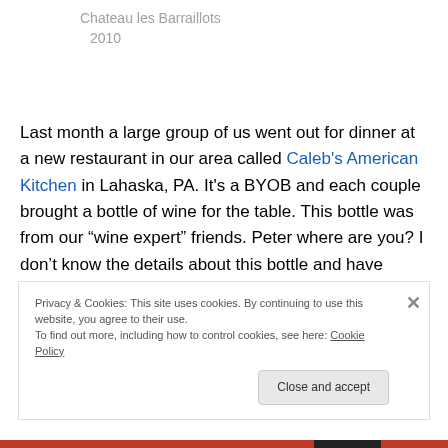Chateau les Barraillots
2010
Last month a large group of us went out for dinner at a new restaurant in our area called Caleb's American Kitchen in Lahaska, PA. It's a BYOB and each couple brought a bottle of wine for the table. This bottle was from our “wine expert” friends. Peter where are you? I don’t know the details about this bottle and have looked for it in two different liquor stores, but alas, I can’t find it. Peter send information pronto! It was fantastic!
Privacy & Cookies: This site uses cookies. By continuing to use this website, you agree to their use.
To find out more, including how to control cookies, see here: Cookie Policy